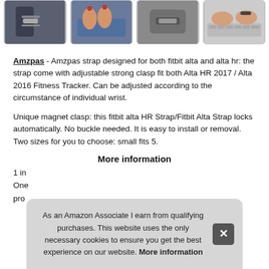[Figure (photo): Four thumbnail photos showing fitness tracker straps on wrists and hands on laptop]
Amzpas - Amzpas strap designed for both fitbit alta and alta hr: the strap come with adjustable strong clasp fit both Alta HR 2017 / Alta 2016 Fitness Tracker. Can be adjusted according to the circumstance of individual wrist.
Unique magnet clasp: this fitbit alta HR Strap/Fitbit Alta Strap locks automatically. No buckle needed. It is easy to install or removal. Two sizes for you to choose: small fits 5.
More information
1 in
One
pro
As an Amazon Associate I earn from qualifying purchases. This website uses the only necessary cookies to ensure you get the best experience on our website. More information